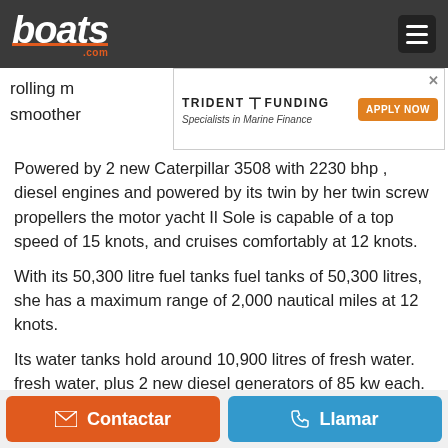boats.com
rolling m... smoother...
[Figure (screenshot): Trident Funding advertisement banner with 'APPLY NOW' button and a boat image. Text: 'TRIDENT FUNDING Specialists in Marine Finance']
Powered by 2 new Caterpillar 3508 with 2230 bhp , diesel engines and powered by its twin by her twin screw propellers the motor yacht Il Sole is capable of a top speed of 15 knots, and cruises comfortably at 12 knots.
With its 50,300 litre fuel tanks fuel tanks of 50,300 litres, she has a maximum range of 2,000 nautical miles at 12 knots.
Its water tanks hold around 10,900 litres of fresh water. fresh water, plus 2 new diesel generators of 85 kw each. each.
2 fresh water generators 20,000 l/day
Contactar   Llamar